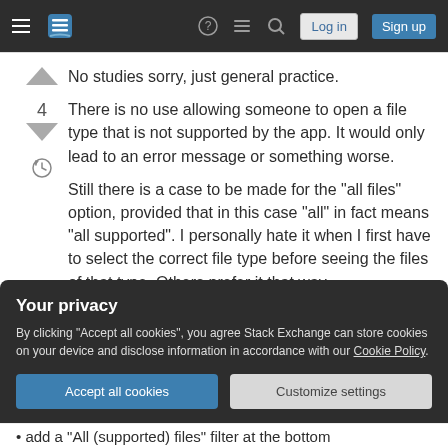Stack Exchange navigation bar with Log in and Sign up buttons
No studies sorry, just general practice.
There is no use allowing someone to open a file type that is not supported by the app. It would only lead to an error message or something worse.
Still there is a case to be made for the "all files" option, provided that in this case "all" in fact means "all supported". I personally hate it when I first have to select the correct file type before seeing the files of that type. Others prefer it that way
Your privacy
By clicking "Accept all cookies", you agree Stack Exchange can store cookies on your device and disclose information in accordance with our Cookie Policy.
Accept all cookies   Customize settings
add a "All (supported) files" filter at the bottom